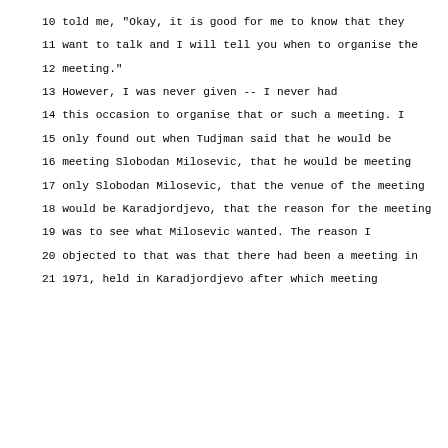10 told me, "Okay, it is good for me to know that they
11 want to talk and I will tell you when to organise the
12 meeting."
13 However, I was never given -- I never had
14 this occasion to organise that or such a meeting. I
15 only found out when Tudjman said that he would be
16 meeting Slobodan Milosevic, that he would be meeting
17 only Slobodan Milosevic, that the venue of the meeting
18 would be Karadjordjevo, that the reason for the meeting
19 was to see what Milosevic wanted. The reason I
20 objected to that was that there had been a meeting in
21 1971, held in Karadjordjevo after which meeting